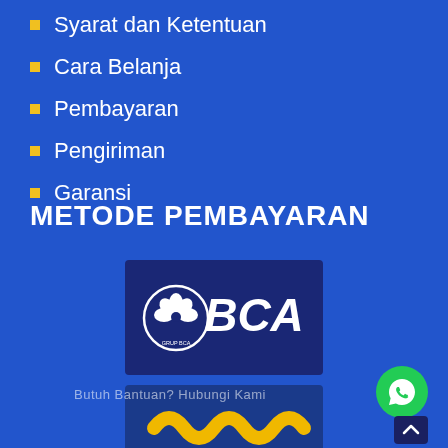Syarat dan Ketentuan
Cara Belanja
Pembayaran
Pengiriman
Garansi
METODE PEMBAYARAN
[Figure (logo): BCA (Bank Central Asia) logo on dark navy background]
[Figure (logo): Bank Mandiri logo on dark blue background with yellow wave mark and white text 'mandiri']
Butuh Bantuan? Hubungi Kami